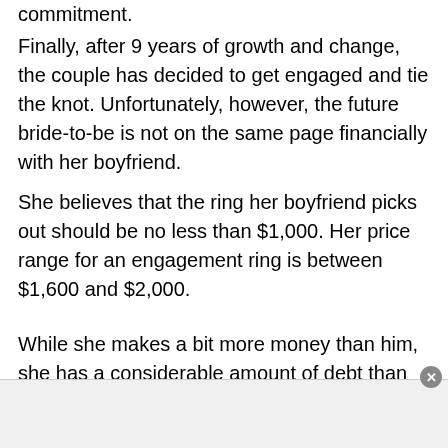commitment.
Finally, after 9 years of growth and change, the couple has decided to get engaged and tie the knot. Unfortunately, however, the future bride-to-be is not on the same page financially with her boyfriend.
She believes that the ring her boyfriend picks out should be no less than $1,000. Her price range for an engagement ring is between $1,600 and $2,000.
While she makes a bit more money than him, she has a considerable amount of debt than her boyfriend.